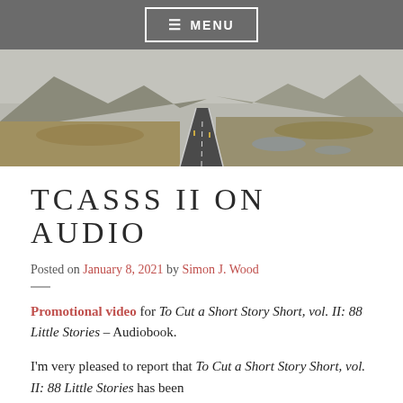≡ MENU
[Figure (photo): A long straight road stretching into the distance through a mountainous landscape under an overcast sky.]
TCASSS II ON AUDIO
Posted on January 8, 2021 by Simon J. Wood
Promotional video for To Cut a Short Story Short, vol. II: 88 Little Stories – Audiobook.
I'm very pleased to report that To Cut a Short Story Short, vol. II: 88 Little Stories has been